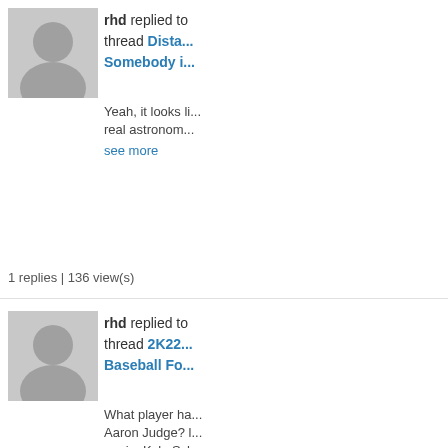rhd replied to thread Dista... Somebody i...
Yeah, it looks li... real astronom...
see more
1 replies | 136 view(s)
rhd replied to thread 2K22... Baseball Fo...
What player ha... Aaron Judge? l... again. Kyle Sch... It's...Austin...
see more
501 replies | 367108 view(s)
rhd replied to thread Vin S... Forum
Another legend...
see more